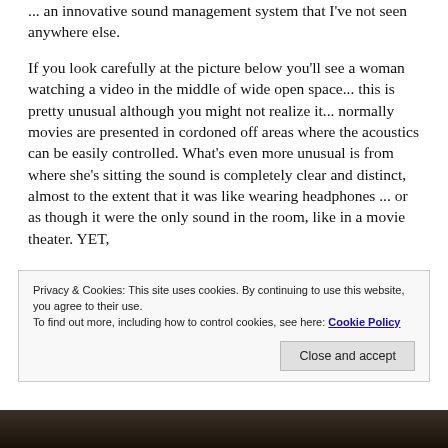... an innovative sound management system that I've not seen anywhere else.
If you look carefully at the picture below you'll see a woman watching a video in the middle of wide open space... this is pretty unusual although you might not realize it... normally movies are presented in cordoned off areas where the acoustics can be easily controlled. What's even more unusual is from where she's sitting the sound is completely clear and distinct, almost to the extent that it was like wearing headphones ... or as though it were the only sound in the room, like in a movie theater. YET,
Privacy & Cookies: This site uses cookies. By continuing to use this website, you agree to their use.
To find out more, including how to control cookies, see here: Cookie Policy
[Figure (photo): Bottom strip of a photo showing a dark scene, partially visible]